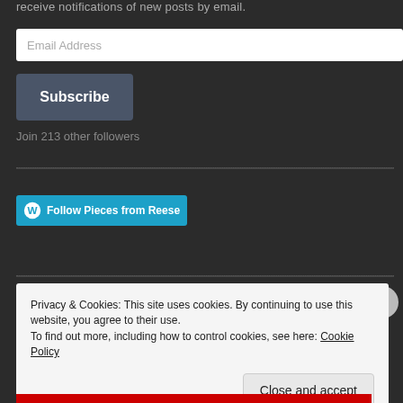receive notifications of new posts by email.
Email Address
Subscribe
Join 213 other followers
[Figure (other): Follow Pieces from Reese button with WordPress logo]
Privacy & Cookies: This site uses cookies. By continuing to use this website, you agree to their use.
To find out more, including how to control cookies, see here: Cookie Policy
Close and accept